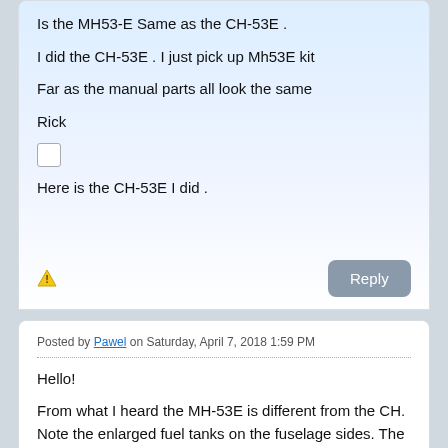Is the MH53-E Same as the CH-53E .
I did the CH-53E . I just pick up Mh53E kit
Far as the manual parts all look the same
Rick
[Figure (other): Empty checkbox square]
Here is the CH-53E I did .
Posted by Pawel on Saturday, April 7, 2018 1:59 PM
Hello!
From what I heard the MH-53E is different from the CH. Note the enlarged fuel tanks on the fuselage sides. The